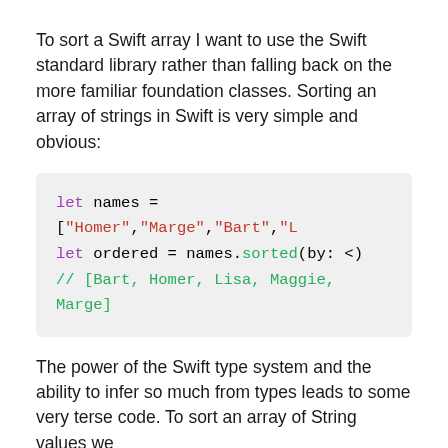To sort a Swift array I want to use the Swift standard library rather than falling back on the more familiar foundation classes. Sorting an array of strings in Swift is very simple and obvious:
let names = ["Homer","Marge","Bart","L
let ordered = names.sorted(by: <)
// [Bart, Homer, Lisa, Maggie, Marge]
The power of the Swift type system and the ability to infer so much from types leads to some very terse code. To sort an array of String values we